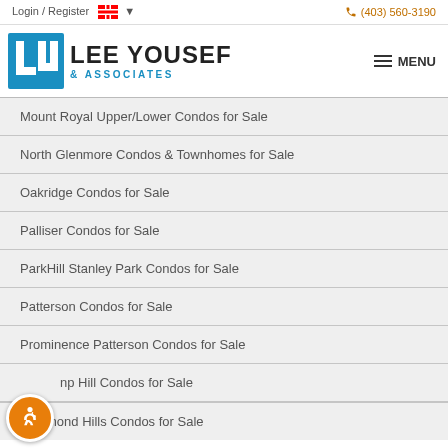Login / Register  🇨🇦 ▾   (403) 560-3190
[Figure (logo): Lee Yousef & Associates real estate logo with blue LU icon and company name]
Mount Royal Upper/Lower Condos for Sale
North Glenmore Condos & Townhomes for Sale
Oakridge Condos for Sale
Palliser Condos for Sale
ParkHill Stanley Park Condos for Sale
Patterson Condos for Sale
Prominence Patterson Condos for Sale
np Hill Condos for Sale
Richmond Hills Condos for Sale